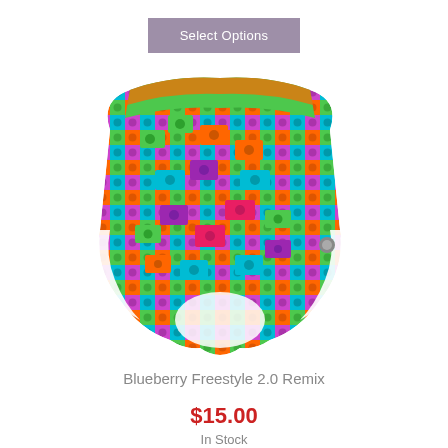Select Options
[Figure (photo): Baby cloth diaper/training pant with colorful LEGO-style building blocks pattern in green, orange, teal, purple, pink, and red on white background]
Blueberry Freestyle 2.0 Remix
$15.00
In Stock